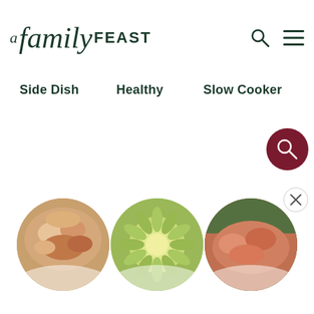A Family FEAST
Side Dish
Healthy
Slow Cooker
[Figure (photo): Three circular food photos at the bottom of a recipe website page, partially cropped, with reflection effect at the bottom]
[Figure (other): Floating search button (dark red circle with magnifying glass icon) and close button]